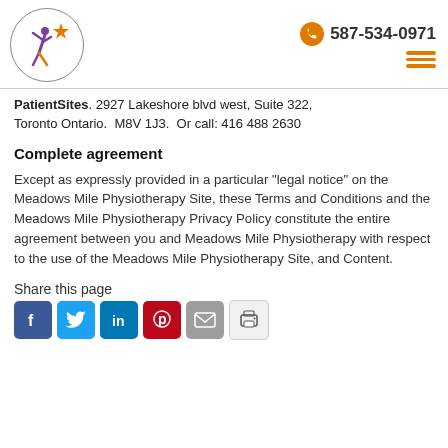[Figure (logo): Meadows Mile Physiotherapy logo: person with arms raised inside a circle with an orange star accent]
587-534-0971
PatientSites. 2927 Lakeshore blvd west, Suite 322, Toronto Ontario.  M8V 1J3.  Or call: 416 488 2630
Complete agreement
Except as expressly provided in a particular "legal notice" on the Meadows Mile Physiotherapy Site, these Terms and Conditions and the Meadows Mile Physiotherapy Privacy Policy constitute the entire agreement between you and Meadows Mile Physiotherapy with respect to the use of the Meadows Mile Physiotherapy Site, and Content.
Share this page
[Figure (infographic): Social share buttons: Facebook, Twitter, LinkedIn, Pinterest, Email, Print]